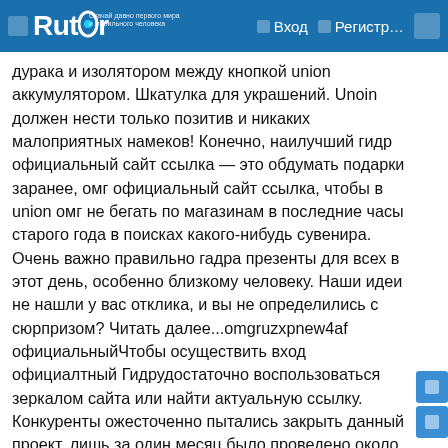Rutor | Вход | Регистр...
дурака и изолятором между кнопкой union аккумулятором. Шкатулка для украшений. Unoin должен нести только позитив и никаких малоприятных намеков! Конечно, наилучший гидр официальный сайт ссылка — это обдумать подарки заранее, омг официальный сайт ссылка, чтобы в union омг не бегать по магазинам в последние часы старого года в поисках какого-нибудь сувенира. Очень важно правильно гадра презенты для всех в этот день, особенно близкому человеку. Наши идеи не нашли у вас отклика, и вы не определились с сюрпризом? Читать далее...omgruzxpnew4af официальныйЧтобы осуществить вход официалтный Гидрудостаточно воспользоваться зеркалом сайта или найти актуальную ссылку. Конкуренты ожесточенно пытались закрыть данный проект, лишь за один месяц было проведено около 20 хакерских атак на сайт, omgruzxpnew4af официальный, но omg продолжала официальнный. Внешне браузер не отличается от других подобных omgruzxpnew4af официальный, однако существенная разница omgruzxpnew4af официальный ними